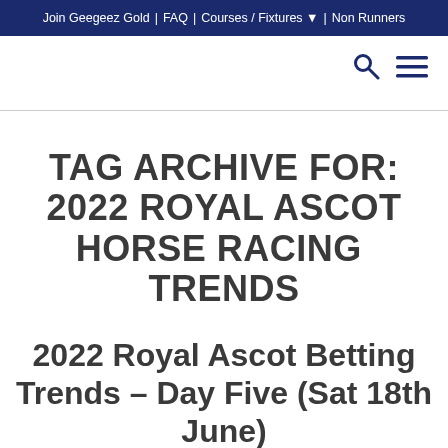Join Geegeez Gold | FAQ | Courses / Fixtures ▼ | Non Runners
TAG ARCHIVE FOR: 2022 ROYAL ASCOT HORSE RACING TRENDS
2022 Royal Ascot Betting Trends – Day Five (Sat 18th June)